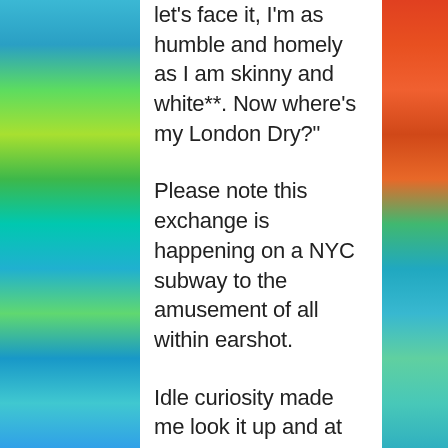[Figure (illustration): Colorful stained-glass style mosaic illustration on the left side of the page with blues, greens, and yellows]
[Figure (illustration): Colorful stained-glass style mosaic illustration on the right side of the page with reds, oranges, greens, and teals]
let's face it, I'm as humble and homely as I am skinny and white**. Now where's my London Dry?"
Please note this exchange is happening on a NYC subway to the amusement of all within earshot.
Idle curiosity made me look it up and at the time of this writing it is coincidently after 5pm in Casablanca, Morocco. Alas, I am not on holiday and do need to prep for yet another meeting that